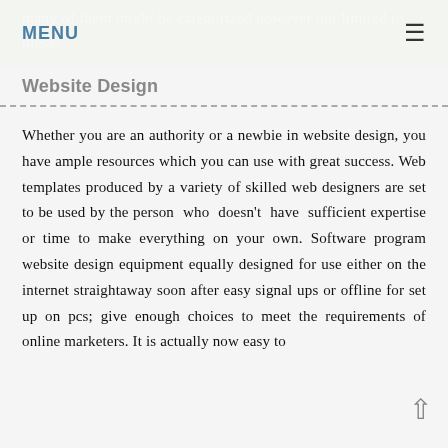many of them might be categorized however not limited to these:
MENU ≡
Website Design
Whether you are an authority or a newbie in website design, you have ample resources which you can use with great success. Web templates produced by a variety of skilled web designers are set to be used by the person who doesn't have sufficient expertise or time to make everything on your own. Software program website design equipment equally designed for use either on the internet straightaway soon after easy signal ups or offline for set up on pcs; give enough choices to meet the requirements of online marketers. It is actually now easy to